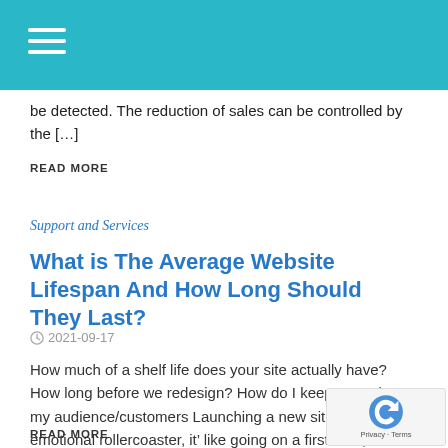be detected. The reduction of sales can be controlled by the [...]
READ MORE
Support and Services
What is The Average Website Lifespan And How Long Should They Last?
2021-09-17
How much of a shelf life does your site actually have? How long before we redesign? How do I keep engaging my audience/customers Launching a new site is an emotional rollercoaster, it' like going on a first date, are they attractive enough? Do I feel like I can engage with the content? Will the front [...]
READ MORE